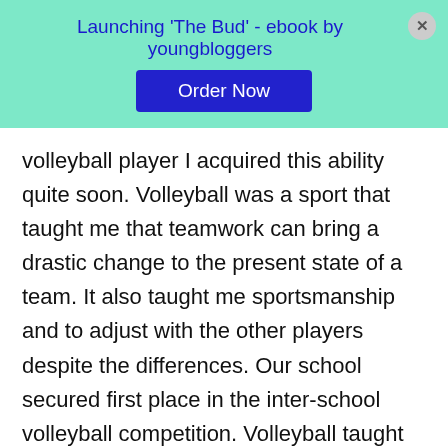Launching 'The Bud' - ebook by youngbloggers
volleyball player I acquired this ability quite soon. Volleyball was a sport that taught me that teamwork can bring a drastic change to the present state of a team. It also taught me sportsmanship and to adjust with the other players despite the differences. Our school secured first place in the inter-school volleyball competition. Volleyball taught me if one focuses on what he/she does they will definitely make a way for the success of the same. If not for the hard work of the team we would not have reached this place.